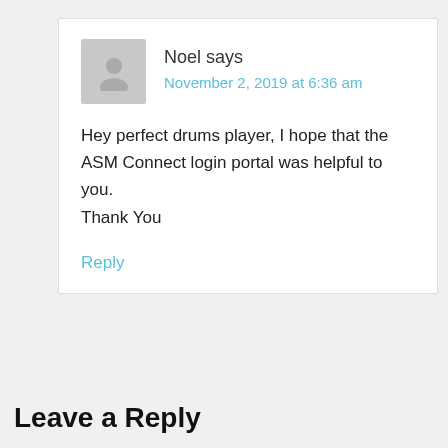Noel says
November 2, 2019 at 6:36 am
Hey perfect drums player, I hope that the ASM Connect login portal was helpful to you.
Thank You
Reply
Leave a Reply